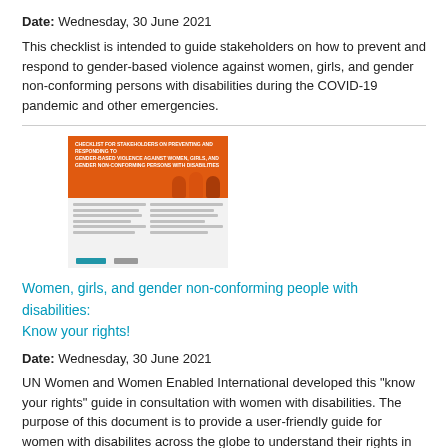Date: Wednesday, 30 June 2021
This checklist is intended to guide stakeholders on how to prevent and respond to gender-based violence against women, girls, and gender non-conforming persons with disabilities during the COVID-19 pandemic and other emergencies.
[Figure (illustration): Thumbnail of a document with an orange header featuring illustrated figures of women, and a text body below with logos at the bottom.]
Women, girls, and gender non-conforming people with disabilities: Know your rights!
Date: Wednesday, 30 June 2021
UN Women and Women Enabled International developed this "know your rights" guide in consultation with women with disabilities. The purpose of this document is to provide a user-friendly guide for women with disabilites across the globe to understand their rights in accessing support when experiencing gender-based violence and to enable them to advocate with States for their rights.